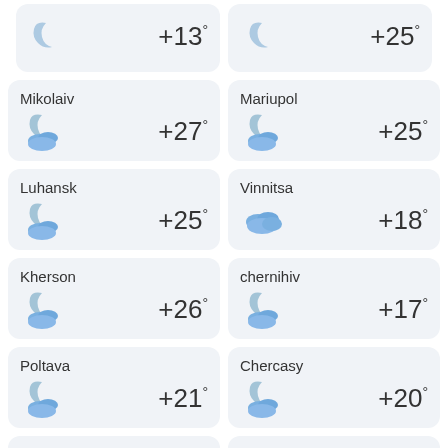[Figure (infographic): Weather card top partial row: two cities with night/clear icon showing +13° and moon icon showing +25°]
[Figure (infographic): Weather card: Mikolaiv, partly cloudy night, +27°]
[Figure (infographic): Weather card: Mariupol, partly cloudy night, +25°]
[Figure (infographic): Weather card: Luhansk, partly cloudy night, +25°]
[Figure (infographic): Weather card: Vinnitsa, cloudy, +18°]
[Figure (infographic): Weather card: Kherson, partly cloudy night, +26°]
[Figure (infographic): Weather card: chernihiv, partly cloudy night, +17°]
[Figure (infographic): Weather card: Poltava, partly cloudy night, +21°]
[Figure (infographic): Weather card: Chercasy, partly cloudy night, +20°]
[Figure (infographic): Weather card bottom partial: Khmelnitsky and Chernivtsi, partly cloudy icons visible]